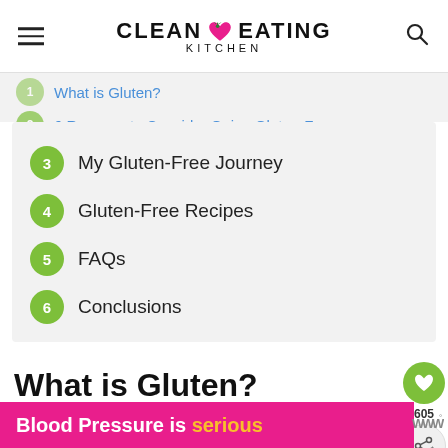CLEAN EATING KITCHEN
1 What is Gluten?
2 6 Reasons to Consider Going Gluten-Free
3 My Gluten-Free Journey
4 Gluten-Free Recipes
5 FAQs
6 Conclusions
What is Gluten?
Gluten is the general term for a group of proteins found in grains such as wheat, barley, and rye. Gluten...in
Blood Pressure is serious